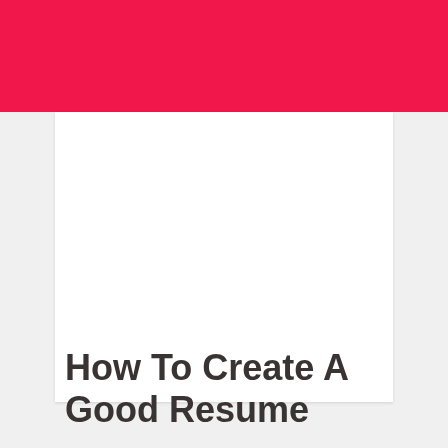[Figure (other): Pink/red banner bar at the top of the page, with a white card/rectangle below it on a light gray background]
How To Create A Good Resume